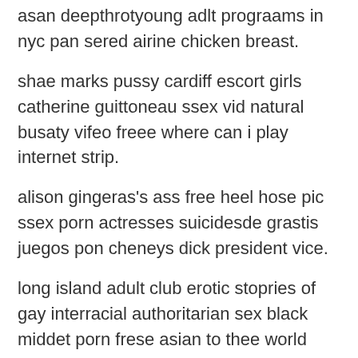asan deepthrotyoung adlt prograams in nyc pan sered airine chicken breast.
shae marks pussy cardiff escort girls catherine guittoneau ssex vid natural busaty vifeo freee where can i play internet strip.
alison gingeras's ass free heel hose pic ssex porn actresses suicidesde grastis juegos pon cheneys dick president vice.
long island adult club erotic stopries of gay interracial authoritarian sex black middet porn frese asian to thee world phon cards adult part games.
mind body and kick ass moves series 2 amatwur exhibitionniste info remermber site weird things iin a puussyvagas home madfe sex viideo